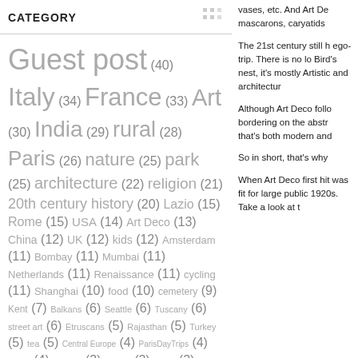CATEGORY
[Figure (other): Grid/dots icon next to CATEGORY header]
Guest post (40) Italy (34) France (33) Art (30) India (29) rural (28) Paris (26) nature (25) park (25) architecture (22) religion (21) 20th century history (20) Lazio (15) Rome (15) USA (14) Art Deco (13) China (12) UK (12) kids (12) Amsterdam (11) Bombay (11) Mumbai (11) Netherlands (11) Renaissance (11) cycling (11) Shanghai (10) food (10) cemetery (9) Kent (7) Balkans (6) Seattle (6) Tuscany (6) street art (6) Etruscans (5) Rajasthan (5) Turkey (5) tea (5) Central Europe (4) ParisDayTrips (4) desert (4) Editorial (3) Greece (3) Japan (3) Kerala (3) Saudi Arabia (3) Burgundy (2) Delhi (2) Hyderabad (2) Judaism (2) London (2) Macedonia (2) Malaysia (2) Singapore (2) Spain (2) Tamil Nadu (2) art nouveau (2) Albania (1) Bosnia (1) Campania (1) Central Asia (1)
vases, etc. And Art De mascarons, caryatids
The 21st century still h ego-trip. There is no lo Bird's nest, it's mostly Artistic and architectur
Although Art Deco follo bordering on the abstr that's both modern and
So in short, that's why
When Art Deco first hit was fit for large public 1920s. Take a look at t
[Figure (photo): Dark photograph of an Art Deco interior, showing dark wooden/metal architectural details]